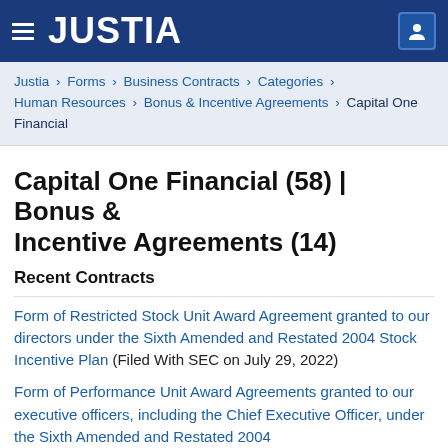JUSTIA
Justia › Forms › Business Contracts › Categories › Human Resources › Bonus & Incentive Agreements › Capital One Financial
Capital One Financial (58) | Bonus & Incentive Agreements (14)
Recent Contracts
Form of Restricted Stock Unit Award Agreement granted to our directors under the Sixth Amended and Restated 2004 Stock Incentive Plan (Filed With SEC on July 29, 2022)
Form of Performance Unit Award Agreements granted to our executive officers, including the Chief Executive Officer, under the Sixth Amended and Restated 2004